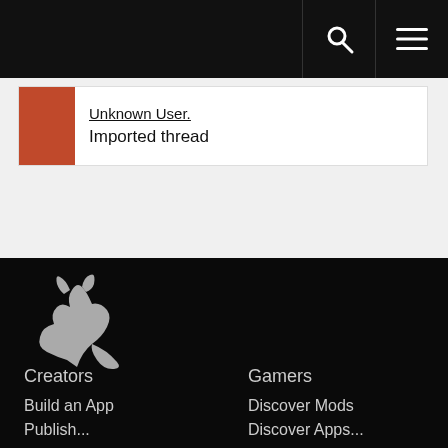Navigation bar with search and menu icons
Unknown User.
Imported thread
[Figure (logo): Wolf/fox logo in grey on black background]
Creators
Gamers
Build an App
Discover Mods
Publish...
Discover Apps...